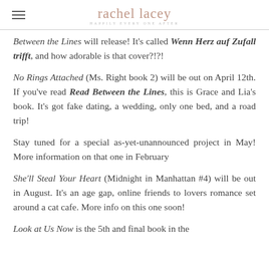rachel lacey — HAPPILY EVERY ONE AFTER
Between the Lines will release! It's called Wenn Herz auf Zufall trifft, and how adorable is that cover?!?!
No Rings Attached (Ms. Right book 2) will be out on April 12th. If you've read Read Between the Lines, this is Grace and Lia's book. It's got fake dating, a wedding, only one bed, and a road trip!
Stay tuned for a special as-yet-unannounced project in May! More information on that one in February
She'll Steal Your Heart (Midnight in Manhattan #4) will be out in August. It's an age gap, online friends to lovers romance set around a cat cafe. More info on this one soon!
Look at Us Now is the 5th and final book in the